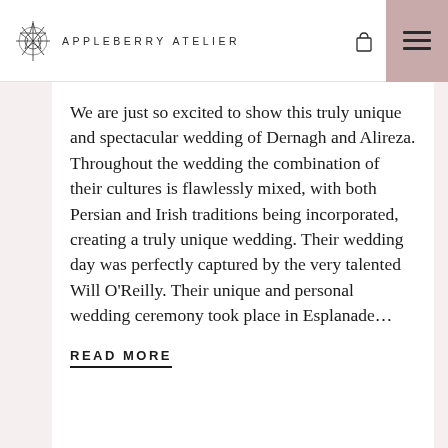APPLEBERRY ATELIER
We are just so excited to show this truly unique and spectacular wedding of Dernagh and Alireza. Throughout the wedding the combination of their cultures is flawlessly mixed, with both Persian and Irish traditions being incorporated, creating a truly unique wedding. Their wedding day was perfectly captured by the very talented Will O'Reilly. Their unique and personal wedding ceremony took place in Esplanade...
READ MORE